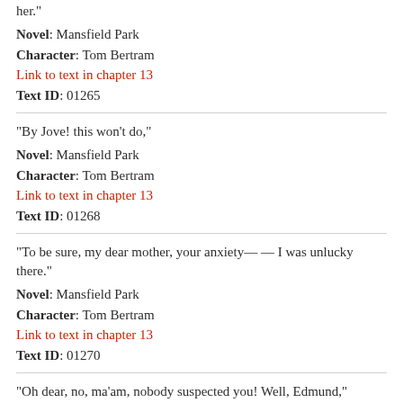her."
Novel: Mansfield Park
Character: Tom Bertram
Link to text in chapter 13
Text ID: 01265
"By Jove! this won't do,"
Novel: Mansfield Park
Character: Tom Bertram
Link to text in chapter 13
Text ID: 01268
"To be sure, my dear mother, your anxiety— — I was unlucky there."
Novel: Mansfield Park
Character: Tom Bertram
Link to text in chapter 13
Text ID: 01270
"Oh dear, no, ma'am, nobody suspected you! Well, Edmund,"
Novel: Mansfield Park